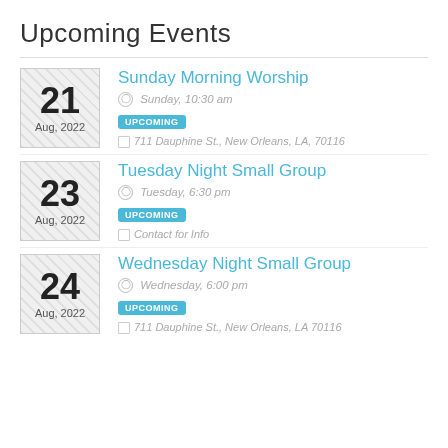Upcoming Events
Sunday Morning Worship — Sunday, 10:30 am — UPCOMING — 711 Dauphine St., New Orleans, LA, 70116 — Aug 21, 2022
Tuesday Night Small Group — Tuesday, 6:30 pm — UPCOMING — Contact for Info — Aug 23, 2022
Wednesday Night Small Group — Wednesday, 6:00 pm — UPCOMING — 711 Dauphine St., New Orleans, LA 70116 — Aug 24, 2022